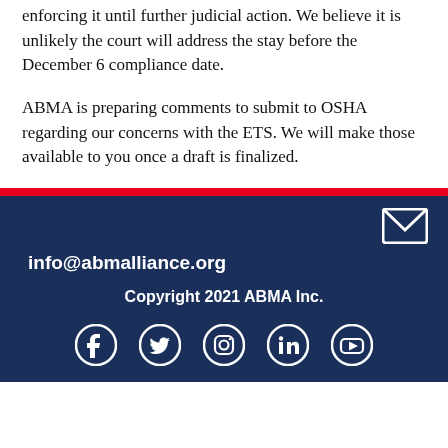enforcing it until further judicial action. We believe it is unlikely the court will address the stay before the December 6 compliance date.
ABMA is preparing comments to submit to OSHA regarding our concerns with the ETS. We will make those available to you once a draft is finalized.
info@abmalliance.org
Copyright 2021 ABMA Inc.